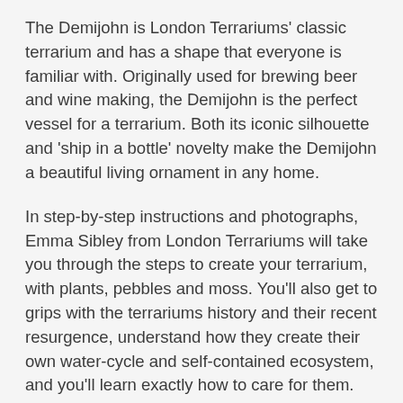The Demijohn is London Terrariums' classic terrarium and has a shape that everyone is familiar with. Originally used for brewing beer and wine making, the Demijohn is the perfect vessel for a terrarium. Both its iconic silhouette and 'ship in a bottle' novelty make the Demijohn a beautiful living ornament in any home.
In step-by-step instructions and photographs, Emma Sibley from London Terrariums will take you through the steps to create your terrarium, with plants, pebbles and moss. You'll also get to grips with the terrariums history and their recent resurgence, understand how they create their own water-cycle and self-contained ecosystem, and you'll learn exactly how to care for them. You'll even learn how to make your own tools from household items in order to best create your demijohn terrarium.
By the end of the course, you will have your own miniature garden to watch grow and develop over time